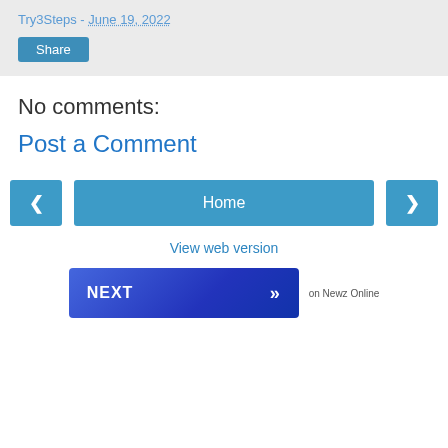Try3Steps - June 19, 2022
Share
No comments:
Post a Comment
[Figure (other): Navigation buttons: left arrow, Home button, right arrow]
View web version
[Figure (other): NEXT button with double chevron, labeled 'on Newz Online']